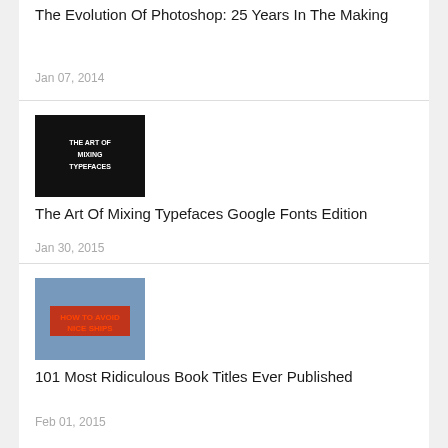The Evolution Of Photoshop: 25 Years In The Making
Jan 07, 2014
[Figure (photo): The Art Of Mixing Typefaces thumbnail — black background with white text]
The Art Of Mixing Typefaces Google Fonts Edition
Jan 30, 2015
[Figure (photo): 101 Most Ridiculous Book Titles thumbnail — ship image with red text overlay]
101 Most Ridiculous Book Titles Ever Published
Feb 01, 2015
[Figure (photo): Designing a Letterhead thumbnail — dark background with white paper/letterhead]
Designing a Letterhead: The Complete Guide
Feb 16, 2015
[Figure (photo): Colorful business cards or design samples thumbnail]